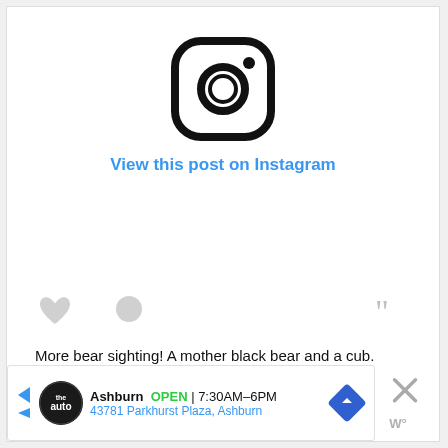[Figure (logo): Instagram camera icon logo in black on white background]
View this post on Instagram
[Figure (other): Instagram engagement icons: heart, comment bubble, and quote marks (grayed out)]
More bear sighting! A mother black bear and a cub.
A post shared by Bob Lai (@tawcan) on Jul 5, 2020 at ...
[Figure (infographic): Advertisement bar: The Auto logo, Ashburn OPEN 7:30AM–6PM, 43781 Parkhurst Plaza, Ashburn, navigation arrow icon]